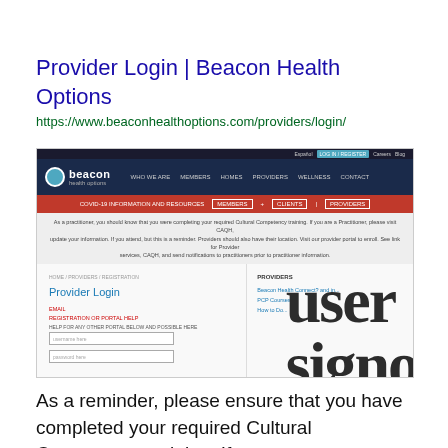Provider Login | Beacon Health Options
https://www.beaconhealthoptions.com/providers/login/
[Figure (screenshot): Screenshot of the Provider Login page on the Beacon Health Options website, showing the navigation bar, a COVID-19 information banner in red, a notice about Cultural Competency training, and a Provider Login form on the left with fields for user name and password. On the right side, partially visible text reads 'user signo' in large bold letters.]
As a reminder, please ensure that you have completed your required Cultural Competency training. If you are a Practitioner, please visit CAQH,